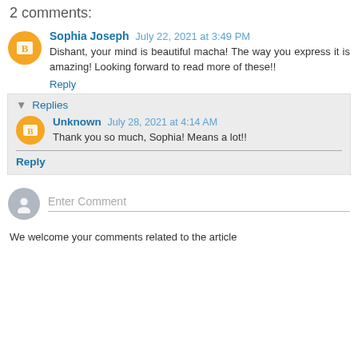2 comments:
Sophia Joseph  July 22, 2021 at 3:49 PM
Dishant, your mind is beautiful macha! The way you express it is amazing! Looking forward to read more of these!!
Reply
▼ Replies
Unknown  July 28, 2021 at 4:14 AM
Thank you so much, Sophia! Means a lot!!
Reply
Enter Comment
We welcome your comments related to the article